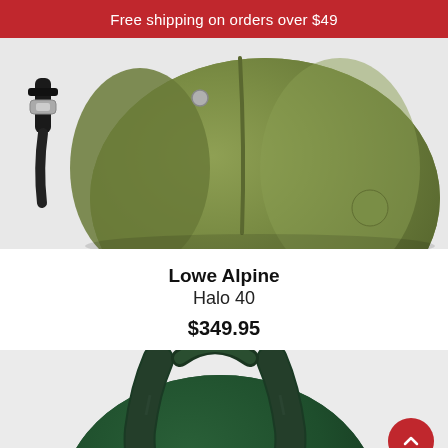Free shipping on orders over $49
[Figure (photo): Olive green Lowe Alpine Halo 40 backpack shown from the side/front on a light grey background, with black hardware clip visible on the left strap.]
Lowe Alpine
Halo 40
$349.95
[Figure (photo): Dark green backpack shown from the back/top, displaying shoulder straps and carry handle, on a light grey background. A red scroll-to-top button is visible in the bottom right corner.]